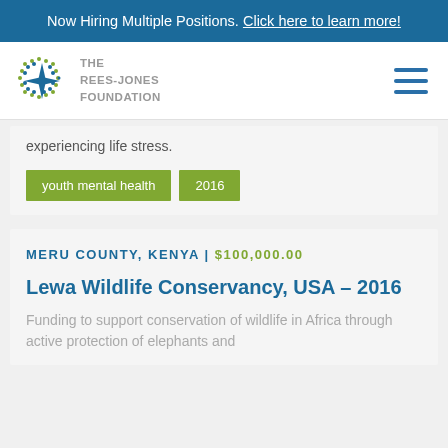Now Hiring Multiple Positions. Click here to learn more!
[Figure (logo): The Rees-Jones Foundation logo with star/diamond motif and text THE REES-JONES FOUNDATION]
experiencing life stress.
youth mental health
2016
MERU COUNTY, KENYA | $100,000.00
Lewa Wildlife Conservancy, USA – 2016
Funding to support conservation of wildlife in Africa through active protection of elephants and